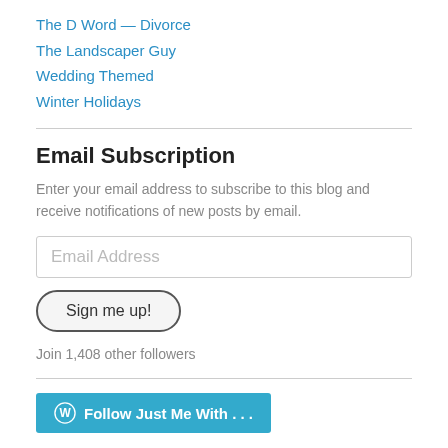The D Word — Divorce
The Landscaper Guy
Wedding Themed
Winter Holidays
Email Subscription
Enter your email address to subscribe to this blog and receive notifications of new posts by email.
Email Address
Sign me up!
Join 1,408 other followers
Follow Just Me With . . .